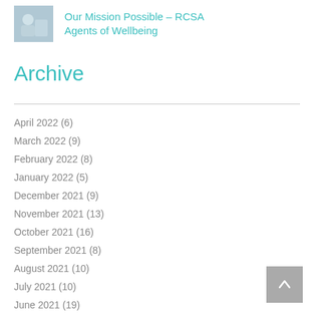[Figure (photo): Thumbnail image of a person, blurred background, appears to be a workplace or wellbeing setting]
Our Mission Possible – RCSA Agents of Wellbeing
Archive
April 2022 (6)
March 2022 (9)
February 2022 (8)
January 2022 (5)
December 2021 (9)
November 2021 (13)
October 2021 (16)
September 2021 (8)
August 2021 (10)
July 2021 (10)
June 2021 (19)
May 2021 (14)
April 2021 (7)